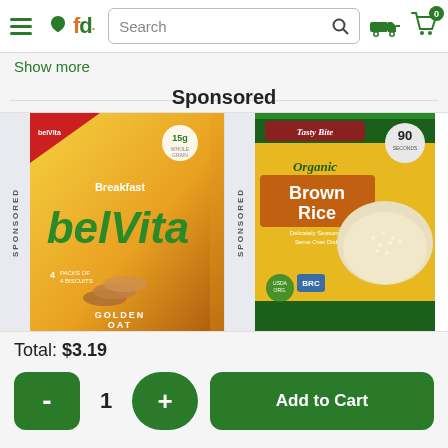fd Search [search icon] [truck icon] [cart 0]
Show more
Sponsored
[Figure (photo): belVita Breakfast Golden Oat biscuits product box with SPONSORED label on side]
[Figure (photo): Tasty Bite Organic Brown Rice pouch product with SPONSORED label on side]
Total: $3.19
- 1 + Add to Cart